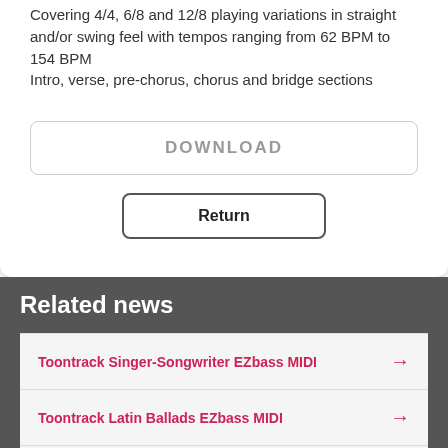Covering 4/4, 6/8 and 12/8 playing variations in straight and/or swing feel with tempos ranging from 62 BPM to 154 BPM
Intro, verse, pre-chorus, chorus and bridge sections
DOWNLOAD
Return
Related news
Toontrack Singer-Songwriter EZbass MIDI
Toontrack Latin Ballads EZbass MIDI
Toontrack Detroit Soul EZbass MIDI
Toontrack Americana EZbass MIDI
Toontrack Acoustic Songwriter Grooves MIDI Pack